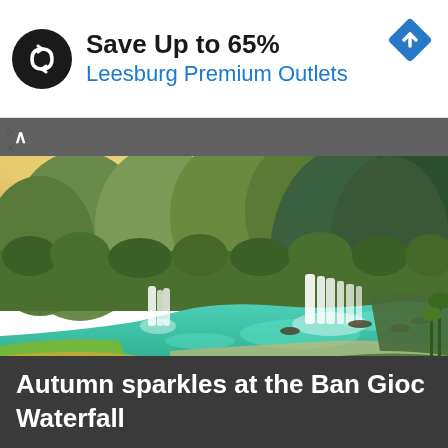[Figure (infographic): Advertisement banner: logo circle with infinity-like arrows icon, text 'Save Up to 65%' in bold, 'Leesburg Premium Outlets' in blue, and a blue diamond navigation icon in top-right corner]
[Figure (photo): Aerial panoramic photograph of Ban Gioc Waterfall in autumn, showing lush green mountains, terraced rice fields, blue-green river with multiple waterfall cascades, and boats on the river]
Autumn sparkles at the Ban Gioc Waterfall